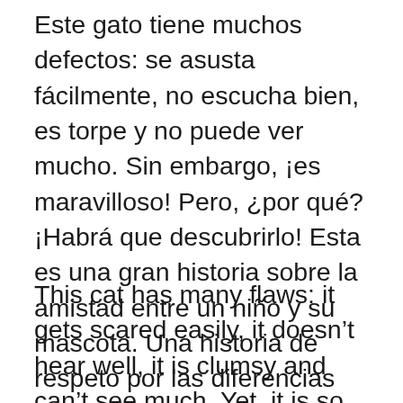Este gato tiene muchos defectos: se asusta fácilmente, no escucha bien, es torpe y no puede ver mucho. Sin embargo, ¡es maravilloso! Pero, ¿por qué? ¡Habrá que descubrirlo! Esta es una gran historia sobre la amistad entre un niño y su mascota. Una historia de respeto por las diferencias con los demás y una gran metáfora para empezar a entender como relaciones sólidas.
This cat has many flaws: it gets scared easily, it doesn't hear well, it is clumsy and can't see much. Yet, it is so wonderful on so many levels! Why is that? You'll have to find out! This is a great story about the friendship between a kid and his pet. A story of respect for each other's differences